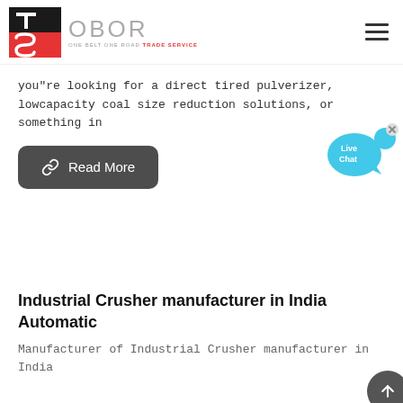[Figure (logo): OBOR Trade Service logo with red and black TS icon and grey OBOR text with tagline ONE BELT ONE ROAD TRADE SERVICE]
you"re looking for a direct tired pulverizer, lowcapacity coal size reduction solutions, or something in
[Figure (illustration): Read More button with link icon on dark grey rounded rectangle background]
[Figure (illustration): Live Chat speech bubble widget in cyan/blue color with x close button]
Industrial Crusher manufacturer in India Automatic
Manufacturer of Industrial Crusher manufacturer in India